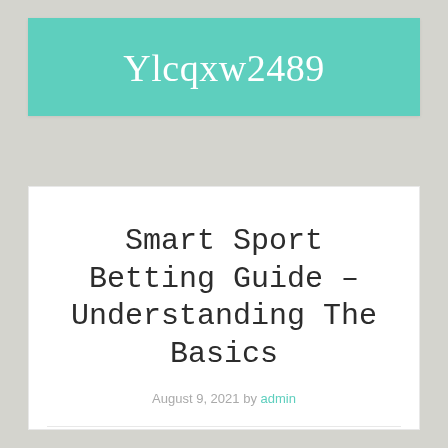Ylcqxw2489
Smart Sport Betting Guide – Understanding The Basics
August 9, 2021 by admin